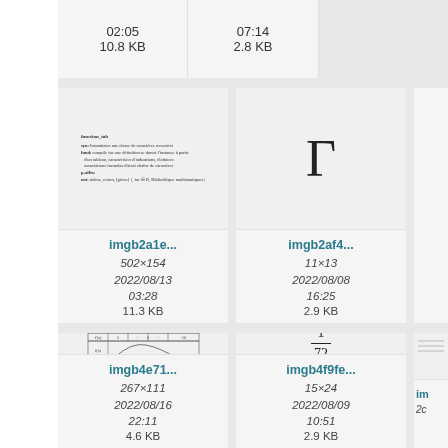[Figure (other): Top strip cell 1: time 02:05 and size 10.8 KB]
[Figure (other): Top strip cell 2: time 07:14 and size 2.8 KB]
[Figure (other): Thumbnail of math document text (imgb2a1e...), 502x154, 2022/08/13 03:28, 11.3 KB]
[Figure (other): Thumbnail showing uppercase Gamma symbol (imgb2af4...), 11x13, 2022/08/08 16:25, 2.9 KB]
[Figure (other): Thumbnail of derivative table and curve (imgb4e71...), 267x111, 2022/08/16 22:11, 4.6 KB]
[Figure (other): Thumbnail showing fraction 1/72 (imgb4f9fe...), 15x24, 2022/08/09 10:51, 2.9 KB]